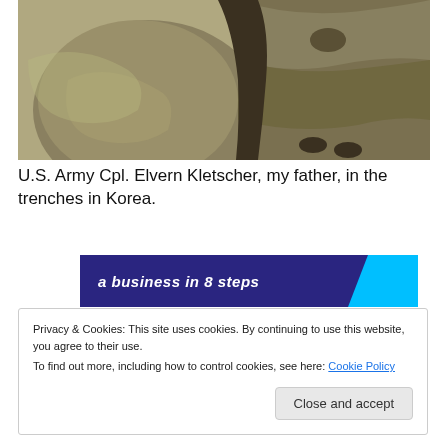[Figure (photo): Black and white photograph (partial view, cropped at top) showing a person in military gear in a trench, with rocky/earthen walls visible. Sepia/grayscale tones.]
U.S. Army Cpl. Elvern Kletscher, my father, in the trenches in Korea.
[Figure (other): Partial advertisement banner with dark blue background, white italic text reading 'a business in 8 steps', and a cyan/light blue angular shape on the right.]
Privacy & Cookies: This site uses cookies. By continuing to use this website, you agree to their use.
To find out more, including how to control cookies, see here: Cookie Policy